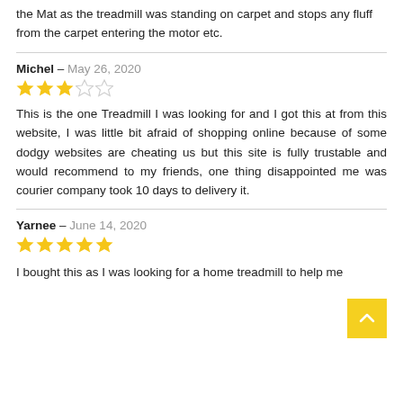the Mat as the treadmill was standing on carpet and stops any fluff from the carpet entering the motor etc.
Michel – May 26, 2020
[Figure (other): 3 out of 5 stars rating]
This is the one Treadmill I was looking for and I got this at from this website, I was little bit afraid of shopping online because of some dodgy websites are cheating us but this site is fully trustable and would recommend to my friends, one thing disappointed me was courier company took 10 days to delivery it.
Yarnee – June 14, 2020
[Figure (other): 5 out of 5 stars rating]
I bought this as I was looking for a home treadmill to help me